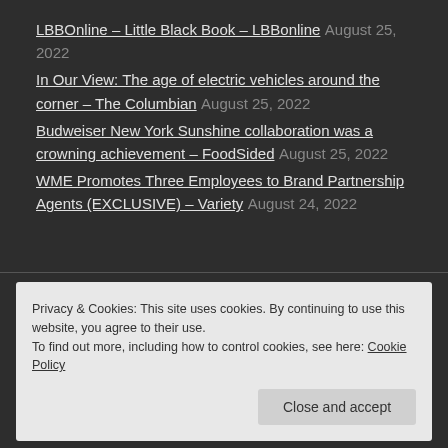LBBOnline – Little Black Book – LBBonline August 25, 2022
In Our View: The age of electric vehicles around the corner – The Columbian August 25, 2022
Budweiser New York Sunshine collaboration was a crowning achievement – FoodSided August 25, 2022
WME Promotes Three Employees to Brand Partnership Agents (EXCLUSIVE) – Variety August 24, 2022
Privacy & Cookies: This site uses cookies. By continuing to use this website, you agree to their use. To find out more, including how to control cookies, see here: Cookie Policy
Close and accept